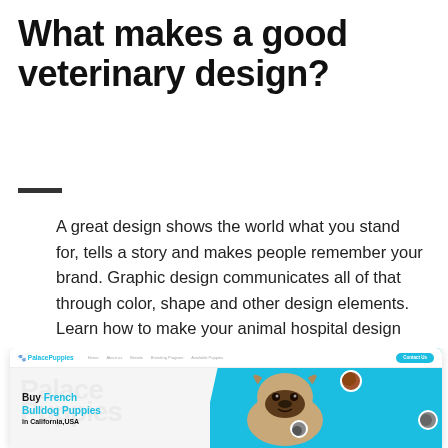What makes a good veterinary design?
A great design shows the world what you stand for, tells a story and makes people remember your brand. Graphic design communicates all of that through color, shape and other design elements. Learn how to make your animal hospital design tell your brand's story.
[Figure (screenshot): A screenshot of the PalacePuppies website showing a cyan/blue hero section with a French Bulldog image and text 'Buy French Bulldog Puppies in California, USA']